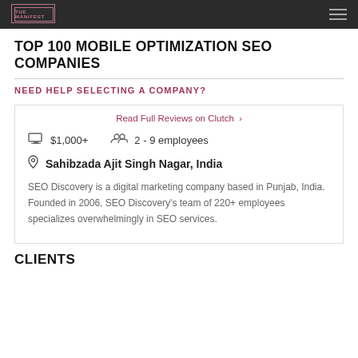THE MANIFEST
TOP 100 MOBILE OPTIMIZATION SEO COMPANIES
NEED HELP SELECTING A COMPANY?
Read Full Reviews on Clutch >
$1,000+   2 - 9 employees
Sahibzada Ajit Singh Nagar, India
SEO Discovery is a digital marketing company based in Punjab, India. Founded in 2006, SEO Discovery's team of 220+ employees specializes overwhelmingly in SEO services.
CLIENTS